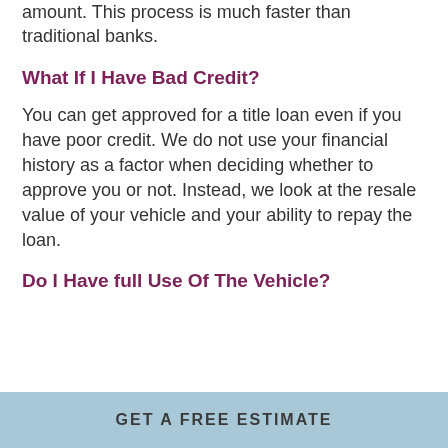amount. This process is much faster than traditional banks.
What If I Have Bad Credit?
You can get approved for a title loan even if you have poor credit. We do not use your financial history as a factor when deciding whether to approve you or not. Instead, we look at the resale value of your vehicle and your ability to repay the loan.
Do I Have full Use Of The Vehicle?
GET A FREE ESTIMATE